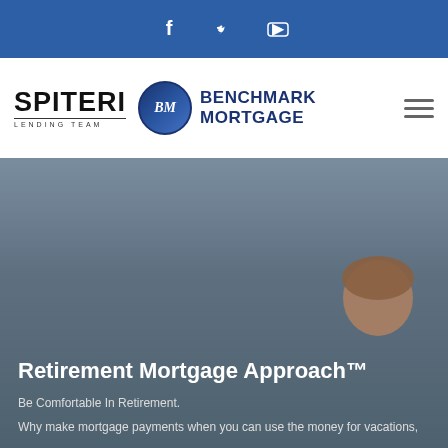Social media icons: Facebook, Twitter, YouTube
[Figure (logo): Spiteri Lending Team | BM Benchmark Mortgage logo with hamburger menu icon]
[Figure (photo): Hero section with grey-blue background and partial view of a person's head on the right side]
Retirement Mortgage Approach™
Be Comfortable In Retirement.
Why make mortgage payments when you can use the money for vacations,